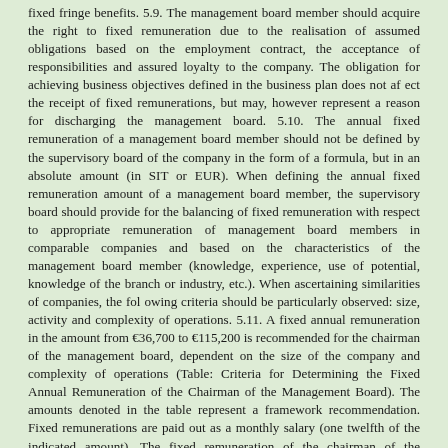fixed fringe benefits. 5.9. The management board member should acquire the right to fixed remuneration due to the realisation of assumed obligations based on the employment contract, the acceptance of responsibilities and assured loyalty to the company. The obligation for achieving business objectives defined in the business plan does not affect the receipt of fixed remunerations, but may, however represent a reason for discharging the management board. 5.10. The annual fixed remuneration of a management board member should not be defined by the supervisory board of the company in the form of a formula, but in an absolute amount (in SIT or EUR). When defining the annual fixed remuneration amount of a management board member, the supervisory board should provide for the balancing of fixed remuneration with respect to appropriate remuneration of management board members in comparable companies and based on the characteristics of the management board member (knowledge, experience, use of potential, knowledge of the branch or industry, etc.). When ascertaining similarities of companies, the following criteria should be particularly observed: size, activity and complexity of operations. 5.11. A fixed annual remuneration in the amount from €36,700 to €115,200 is recommended for the chairman of the management board, dependent on the size of the company and complexity of operations (Table: Criteria for Determining the Fixed Annual Remuneration of the Chairman of the Management Board). The amounts denoted in the table represent a framework recommendation. Fixed remunerations are paid out as a monthly salary (one twelfth of the indicated amount). The fixed remuneration of the chairman of the management board of the company which operates on global markets and has an asset value